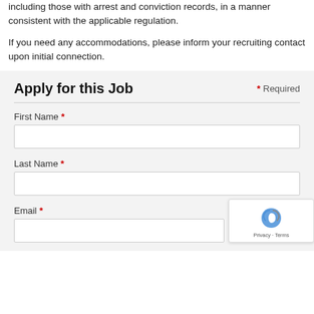including those with arrest and conviction records, in a manner consistent with the applicable regulation.
If you need any accommodations, please inform your recruiting contact upon initial connection.
Apply for this Job
* Required
First Name *
Last Name *
Email *